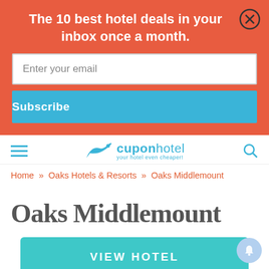The 10 best hotel deals in your inbox once a month.
Enter your email
Subscribe
[Figure (logo): CuponHotel logo with bird/plane icon and tagline 'your hotel even cheaper!']
Home » Oaks Hotels & Resorts » Oaks Middlemount
Oaks Middlemount
VIEW HOTEL